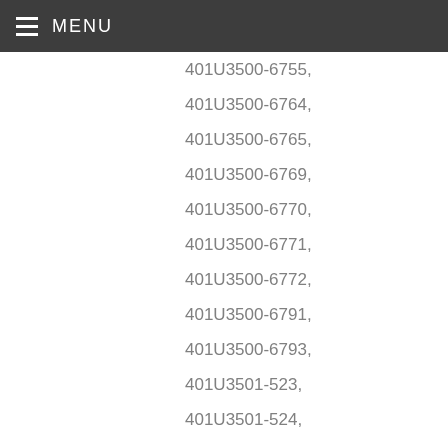MENU
401U3500-6755,
401U3500-6764,
401U3500-6765,
401U3500-6769,
401U3500-6770,
401U3500-6771,
401U3500-6772,
401U3500-6791,
401U3500-6793,
401U3501-523,
401U3501-524,
401U3501-526,
401U3501-527,
401U3503-1007,
401U3503-1011,